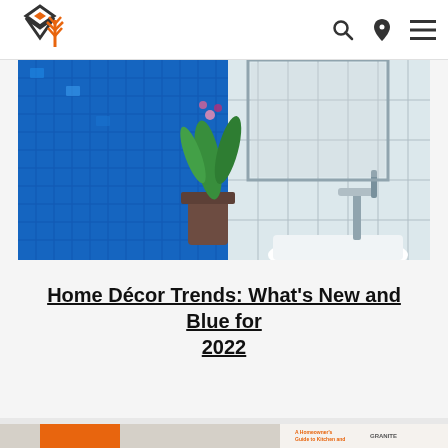Granite Transformations — navigation header with logo, search, location, menu icons
[Figure (photo): Bathroom with blue mosaic tile wall, green orchid plant, white sink and chrome faucet]
Home Décor Trends: What's New and Blue for 2022
[Figure (photo): A Homeowner's Guide to Kitchen and Bathroom Remodeling book cover, partial view]